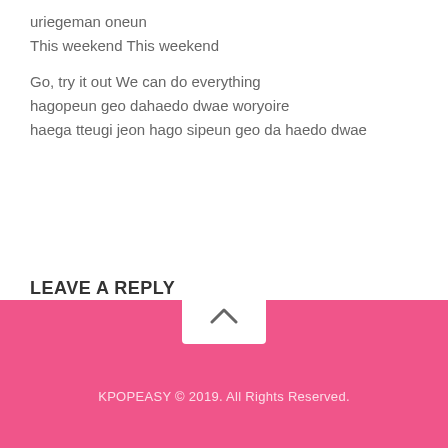uriegeman oneun
This weekend This weekend

Go, try it out We can do everything
hagopeun geo dahaedo dwae woryoire
haega tteugi jeon hago sipeun geo da haedo dwae
LEAVE A REPLY
You must be logged in to post a comment.
KPOPEASY © 2019. All Rights Reserved.